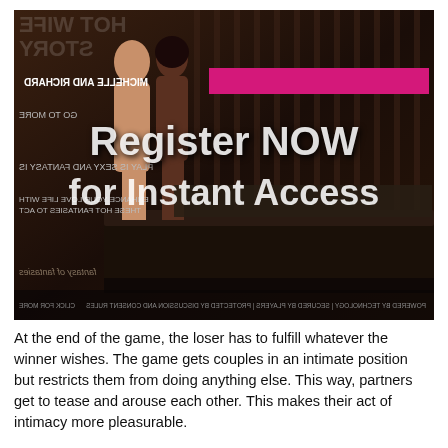[Figure (illustration): Dark-toned promotional image with two figures standing in a bedroom setting. Overlaid text reads 'Register NOW for Instant Access'. Background contains mirrored/reversed text and a pink banner. Bottom strip contains small legal/disclaimer text.]
At the end of the game, the loser has to fulfill whatever the winner wishes. The game gets couples in an intimate position but restricts them from doing anything else. This way, partners get to tease and arouse each other. This makes their act of intimacy more pleasurable.